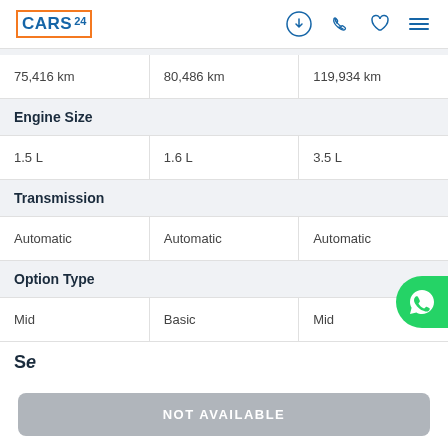CARS24
| Col1 | Col2 | Col3 |
| --- | --- | --- |
| 75,416 km | 80,486 km | 119,934 km |
| Engine Size |  |  |
| 1.5 L | 1.6 L | 3.5 L |
| Transmission |  |  |
| Automatic | Automatic | Automatic |
| Option Type |  |  |
| Mid | Basic | Mid |
NOT AVAILABLE